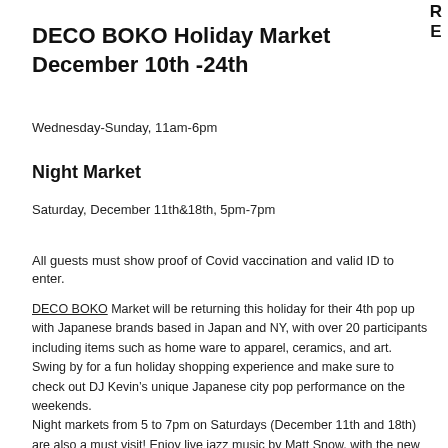RE
DECO BOKO Holiday Market December 10th -24th
Wednesday-Sunday, 11am-6pm
Night Market
Saturday, December 11th&18th, 5pm-7pm
All guests must show proof of Covid vaccination and valid ID to enter.
DECO BOKO Market will be returning this holiday for their 4th pop up with Japanese brands based in Japan and NY, with over 20 participants including items such as home ware to apparel, ceramics, and art. Swing by for a fun holiday shopping experience and make sure to check out DJ Kevin’s unique Japanese city pop performance on the weekends. Night markets from 5 to 7pm on Saturdays (December 11th and 18th) are also a must visit! Enjoy live jazz music by Matt Snow, with the new SAPPORO PURE provided by Sapporo. During the night markets, DECO BOKO is also teaming up with the amazing restaurant RULE OF THIRDS in Greenpoint, to host tasting sessions with BIN BIN SAKE lead by the restaurant, as well as refreshments provided by hip Brooklyn based Japanese restaurant